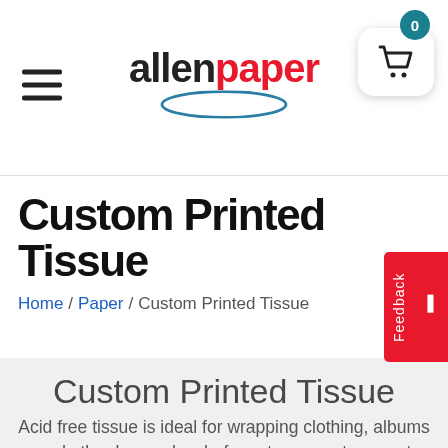[Figure (logo): Allen Paper logo with 'allen' in black bold and 'paper' in red bold, with a teal circular arc underneath]
allenpaper — navigation header with hamburger menu and shopping cart (badge: 0)
Custom Printed Tissue
Home / Paper / Custom Printed Tissue
Custom Printed Tissue
Acid free tissue is ideal for wrapping clothing, albums and other keepsakes before storage or transport because it is free of the acids that will cause it to deteriorate over time and damage the items it is in contact